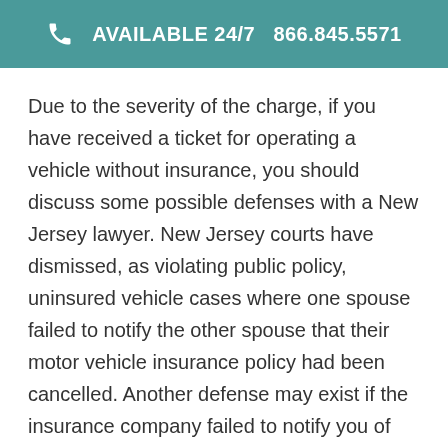AVAILABLE 24/7   866.845.5571
Due to the severity of the charge, if you have received a ticket for operating a vehicle without insurance, you should discuss some possible defenses with a New Jersey lawyer. New Jersey courts have dismissed, as violating public policy, uninsured vehicle cases where one spouse failed to notify the other spouse that their motor vehicle insurance policy had been cancelled. Another defense may exist if the insurance company failed to notify you of the policy's termination. If an insurance company fails to properly notify a client of a policy's termination, then the policy may still be